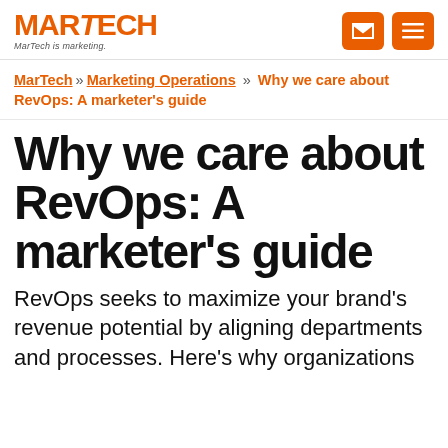MARTECH — MarTech is marketing.
MarTech » Marketing Operations » Why we care about RevOps: A marketer's guide
Why we care about RevOps: A marketer's guide
RevOps seeks to maximize your brand's revenue potential by aligning departments and processes. Here's why organizations should incorporate it into their...